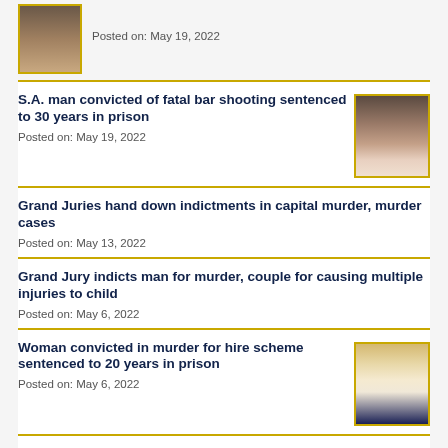[Figure (photo): Mugshot thumbnail top partial]
Posted on: May 19, 2022
S.A. man convicted of fatal bar shooting sentenced to 30 years in prison
Posted on: May 19, 2022
[Figure (photo): Mugshot of male suspect]
Grand Juries hand down indictments in capital murder, murder cases
Posted on: May 13, 2022
Grand Jury indicts man for murder, couple for causing multiple injuries to child
Posted on: May 6, 2022
Woman convicted in murder for hire scheme sentenced to 20 years in prison
Posted on: May 6, 2022
[Figure (photo): Photo of blonde woman]
[Figure (photo): Mugshot thumbnail bottom partial]
Man sentenced to 55 years in prison for indecency with a child